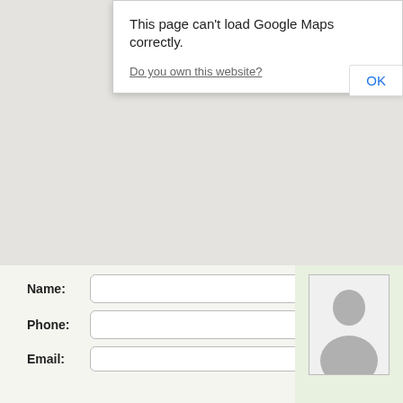[Figure (screenshot): Google Maps error dialog overlay on a grey map background. Dialog reads: 'This page can't load Google Maps correctly.' with a link 'Do you own this website?' and an OK button.]
This page can't load Google Maps correctly.
Do you own this website?
OK
Name:
Phone:
Email:
[Figure (photo): Person silhouette placeholder image in a white bordered box on a green-tinted background.]